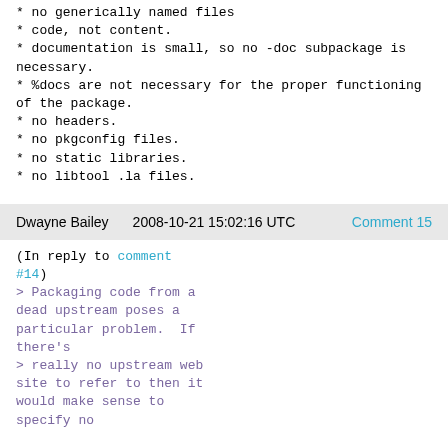* no generically named files
* code, not content.
* documentation is small, so no -doc subpackage is necessary.
* %docs are not necessary for the proper functioning of the package.
* no headers.
* no pkgconfig files.
* no static libraries.
* no libtool .la files.
Dwayne Bailey    2008-10-21 15:02:16 UTC    Comment 15
(In reply to comment #14)
> Packaging code from a dead upstream poses a particular problem.  If there's
> really no upstream web site to refer to then it would make sense to specify no